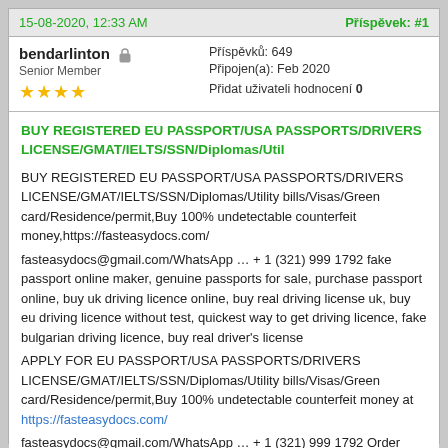15-08-2020, 12:33 AM   Příspěvek: #1
bendarlinton  Senior Member  ★★★★  Příspěvků: 649  Připojen(a): Feb 2020  Přidat uživateli hodnocení 0
BUY REGISTERED EU PASSPORT/USA PASSPORTS/DRIVERS LICENSE/GMAT/IELTS/SSN/Diplomas/Util
BUY REGISTERED EU PASSPORT/USA PASSPORTS/DRIVERS LICENSE/GMAT/IELTS/SSN/Diplomas/Utility bills/Visas/Green card/Residence/permit,Buy 100% undetectable counterfeit money,https://fasteasydocs.com/ fasteasydocs@gmail.com/WhatsApp … + 1 (321) 999 1792 fake passport online maker, genuine passports for sale, purchase passport online, buy uk driving licence online, buy real driving license uk, buy eu driving licence without test, quickest way to get driving licence, fake bulgarian driving licence, buy real driver's license APPLY FOR EU PASSPORT/USA PASSPORTS/DRIVERS LICENSE/GMAT/IELTS/SSN/Diplomas/Utility bills/Visas/Green card/Residence/permit,Buy 100% undetectable counterfeit money at https://fasteasydocs.com/ fasteasydocs@gmail.com/WhatsApp … + 1 (321) 999 1792 Order Online Now For Fake And Real IDS With Fast Shipping/ EU